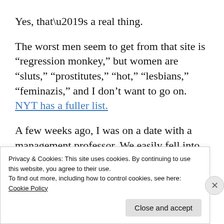Yes, that’s a real thing.
The worst men seem to get from that site is “regression monkey,” but women are “sluts,” “prostitutes,” “hot,” “lesbians,” “feminazis,” and I don’t want to go on. NYT has a fuller list.
A few weeks ago, I was on a date with a management professor. We easily fell into stimulating conversation about chat research
Privacy & Cookies: This site uses cookies. By continuing to use this website, you agree to their use.
To find out more, including how to control cookies, see here: Cookie Policy
Close and accept